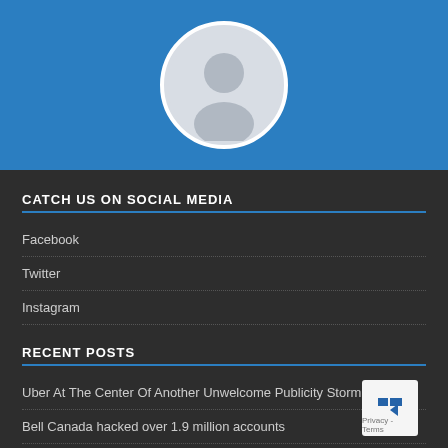[Figure (illustration): Blue banner background with a circular default user avatar (gray silhouette of a person on light gray background) centered in the banner]
CATCH US ON SOCIAL MEDIA
Facebook
Twitter
Instagram
RECENT POSTS
Uber At The Center Of Another Unwelcome Publicity Storm
Bell Canada hacked over 1.9 million accounts